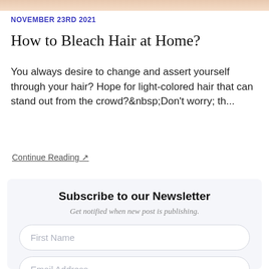[Figure (photo): Cropped top portion of a photo showing a person's hair, skin tones visible, peach/warm color.]
NOVEMBER 23RD 2021
How to Bleach Hair at Home?
You always desire to change and assert yourself through your hair? Hope for light-colored hair that can stand out from the crowd?&nbsp;Don't worry; th...
Continue Reading ↗
Subscribe to our Newsletter
Get notified when new post is publishing.
First Name
Email Address